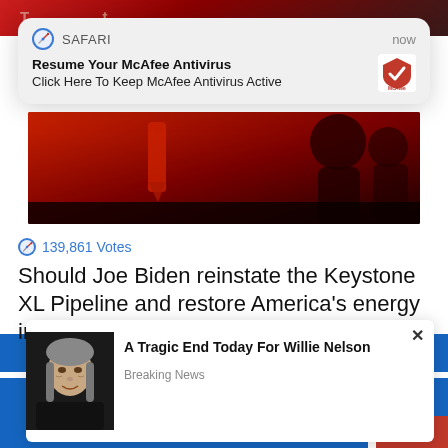[Figure (screenshot): Top website banner with reddish/dark background and partial text]
[Figure (screenshot): Safari iOS push notification popup: 'Resume Your McAfee Antivirus / Click Here To Keep McAfee Antivirus Active' with McAfee logo, timestamp 'now']
[Figure (photo): Hero image with dark red background showing silhouettes]
139,861 Votes
Should Joe Biden reinstate the Keystone XL Pipeline and restore America's energy independence?
[Figure (screenshot): Ad popup: photo of Willie Nelson with headline 'A Tragic End Today For Willie Nelson' and tag 'Breaking News']